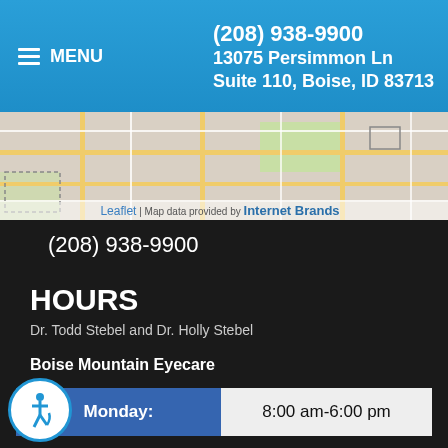(208) 938-9900
13075 Persimmon Ln
Suite 110, Boise, ID 83713
[Figure (map): Street map showing local roads near 13075 Persimmon Ln, Boise, ID. Attribution: Leaflet | Map data provided by Internet Brands]
(208) 938-9900
HOURS
Dr. Todd Stebel and Dr. Holly Stebel
Boise Mountain Eyecare
| Day | Hours |
| --- | --- |
| Monday: | 8:00 am-6:00 pm |
| Tuesday: | 8:00 am-6:00 pm |
| Wednesday: | 8:00 am-6:00 pm |